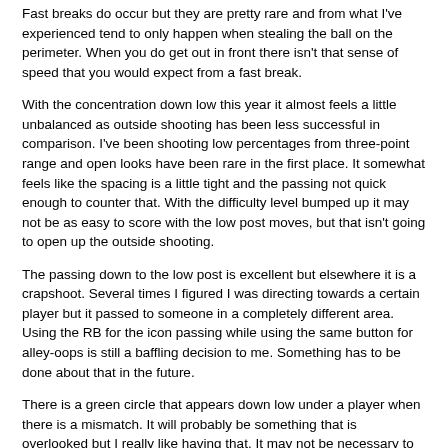Fast breaks do occur but they are pretty rare and from what I've experienced tend to only happen when stealing the ball on the perimeter. When you do get out in front there isn't that sense of speed that you would expect from a fast break.
With the concentration down low this year it almost feels a little unbalanced as outside shooting has been less successful in comparison. I've been shooting low percentages from three-point range and open looks have been rare in the first place. It somewhat feels like the spacing is a little tight and the passing not quick enough to counter that. With the difficulty level bumped up it may not be as easy to score with the low post moves, but that isn't going to open up the outside shooting.
The passing down to the low post is excellent but elsewhere it is a crapshot. Several times I figured I was directing towards a certain player but it passed to someone in a completely different area. Using the RB for the icon passing while using the same button for alley-oops is still a baffling decision to me. Something has to be done about that in the future.
There is a green circle that appears down low under a player when there is a mismatch. It will probably be something that is overlooked but I really like having that. It may not be necessary to have it in an NBA game, but in the college game it is far less likely that the user will be able to identify mismatches on their own. Not only does it give you the opportunity to